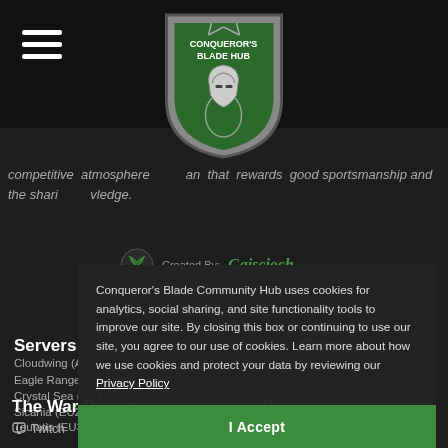Conqueror's Blade Hub
competitive atmosphere and an that rewards good sportsmanship and the sharing of knowledge.
Created By: Gaiscioch
Conqueror's Blade Community Hub uses cookies for analytics, social sharing, and site functionality tools to improve our site. By closing this box or continuing to use our site, you agree to our use of cookies. Learn more about how we use cookies and protect your data by reviewing our Privacy Policy
I Accept
Servers
Cloudwing (A)
Eagle Range (NA)
Crystal Sea (EU1)
Sicania (EU2)
Teutatis (EU3)
Empyros (EU4)
Game
Heroes
Weapons
Units
Crafting
Regions
Field Quests
Seasons
The War Report
Twitch
Resources
Gaiscioch Magazine